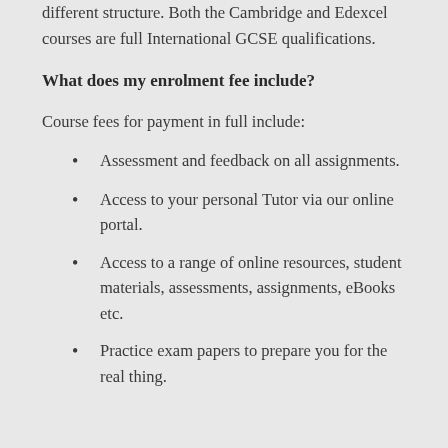different structure. Both the Cambridge and Edexcel courses are full International GCSE qualifications.
What does my enrolment fee include?
Course fees for payment in full include:
Assessment and feedback on all assignments.
Access to your personal Tutor via our online portal.
Access to a range of online resources, student materials, assessments, assignments, eBooks etc.
Practice exam papers to prepare you for the real thing.